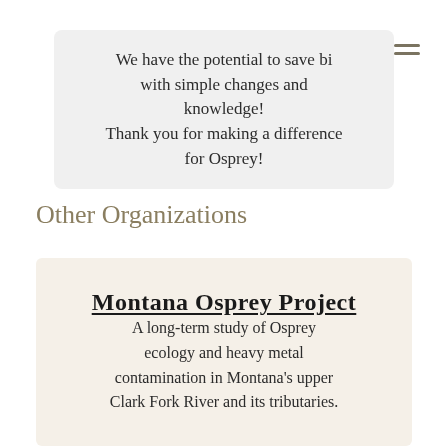We have the potential to save bi… with simple changes and knowledge! Thank you for making a difference for Osprey!
Other Organizations
Montana Osprey Project
A long-term study of Osprey ecology and heavy metal contamination in Montana's upper Clark Fork River and its tributaries.